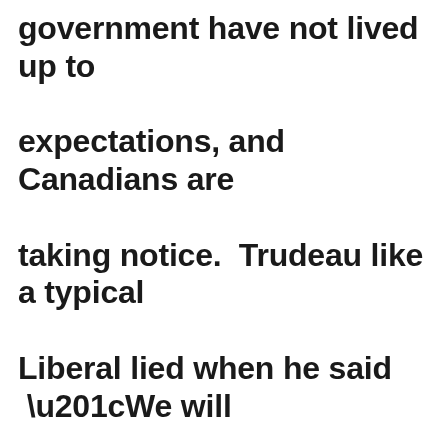government have not lived up to expectations, and Canadians are taking notice.  Trudeau like a typical Liberal lied when he said  “We will uphold the highest standards of integrity and impartiality both in our